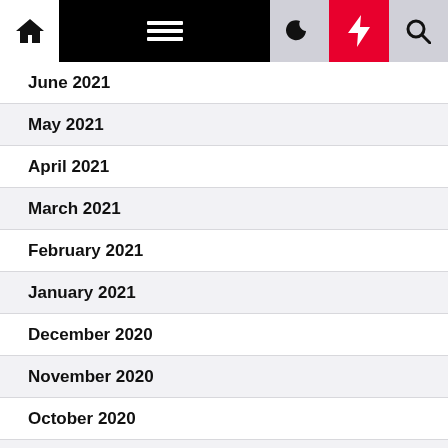Navigation bar with home, menu, moon, bolt, and search icons
June 2021
May 2021
April 2021
March 2021
February 2021
January 2021
December 2020
November 2020
October 2020
September 2020